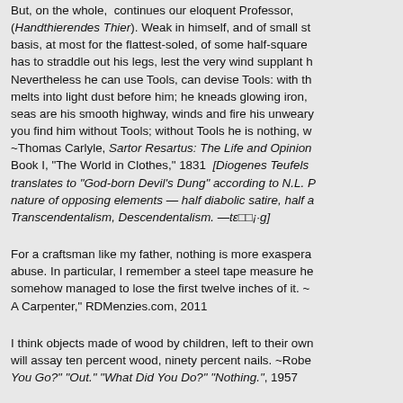But, on the whole, continues our eloquent Professor, (Handthierendes Thier). Weak in himself, and of small stature, he had to straddle out his legs, lest the very wind supplant him. Nevertheless he can use Tools, can devise Tools: with the hatchet he melts into light dust before him; he kneads glowing iron, as if it were seas are his smooth highway, winds and fire his unwearied steeds. ~ you find him without Tools; without Tools he is nothing, with Tools he ~ Thomas Carlyle, Sartor Resartus: The Life and Opinions of Herr Teufelsdröckh, Book I, "The World in Clothes," 1831 [Diogenes Teufelsdröckh, translates to "God-born Devil's Dung" according to N.L. Polk, a name that reflects the nature of opposing elements — half diabolic satire, half a celebration of Transcendentalism, Descendentalism. —tε□□¡·g]
For a craftsman like my father, nothing is more exasperating than tool abuse. In particular, I remember a steel tape measure he had which somehow managed to lose the first twelve inches of it. ~ "Son of A Carpenter," RDMenzies.com, 2011
I think objects made of wood by children, left to their own devices, will assay ten percent wood, ninety percent nails. ~Robert Benchley, "Where You Go?" "Out." "What Did You Do?" "Nothing.", 1957